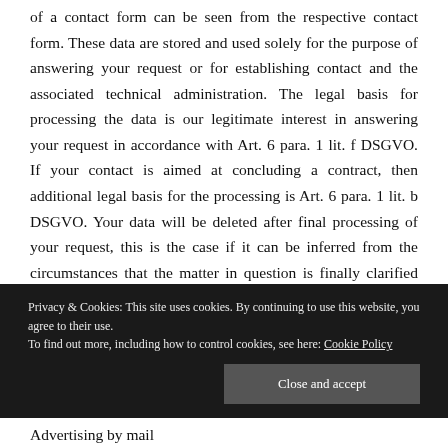of a contact form can be seen from the respective contact form. These data are stored and used solely for the purpose of answering your request or for establishing contact and the associated technical administration. The legal basis for processing the data is our legitimate interest in answering your request in accordance with Art. 6 para. 1 lit. f DSGVO. If your contact is aimed at concluding a contract, then additional legal basis for the processing is Art. 6 para. 1 lit. b DSGVO. Your data will be deleted after final processing of your request, this is the case if it can be inferred from the circumstances that the matter in question is finally clarified and provided that no
Privacy & Cookies: This site uses cookies. By continuing to use this website, you agree to their use. To find out more, including how to control cookies, see here: Cookie Policy
Advertising by mail